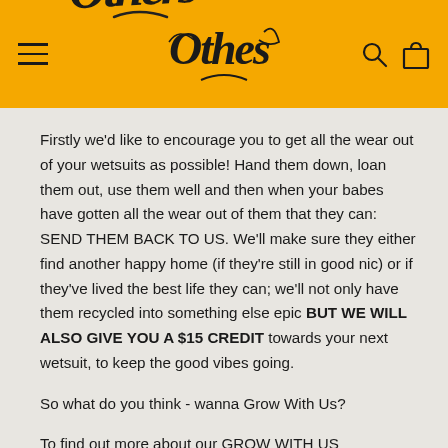Others NYC - Header with navigation, logo, search and cart icons
Firstly we'd like to encourage you to get all the wear out of your wetsuits as possible! Hand them down, loan them out, use them well and then when your babes have gotten all the wear out of them that they can: SEND THEM BACK TO US. We'll make sure they either find another happy home (if they're still in good nic) or if they've lived the best life they can; we'll not only have them recycled into something else epic BUT WE WILL ALSO GIVE YOU A $15 CREDIT towards your next wetsuit, to keep the good vibes going.
So what do you think - wanna Grow With Us?
To find out more about our GROW WITH US PROGRAM email RECYCLE@OTHERS.NYC